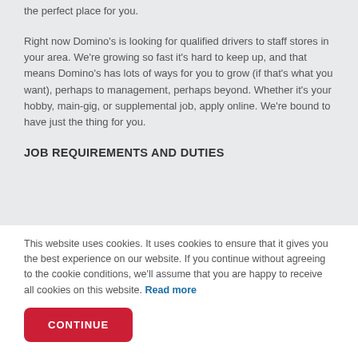the perfect place for you.
Right now Domino's is looking for qualified drivers to staff stores in your area. We're growing so fast it's hard to keep up, and that means Domino's has lots of ways for you to grow (if that's what you want), perhaps to management, perhaps beyond. Whether it's your hobby, main-gig, or supplemental job, apply online. We're bound to have just the thing for you.
JOB REQUIREMENTS AND DUTIES
This website uses cookies. It uses cookies to ensure that it gives you the best experience on our website. If you continue without agreeing to the cookie conditions, we'll assume that you are happy to receive all cookies on this website. Read more
CONTINUE